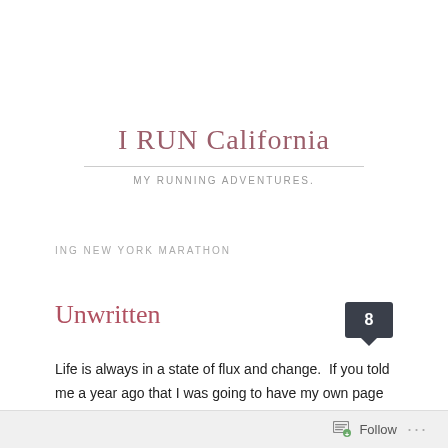I RUN California
MY RUNNING ADVENTURES.
ING NEW YORK MARATHON
Unwritten
Life is always in a state of flux and change.  If you told me a year ago that I was going to have my own page about running, I would have looked at you like you had two heads.  Had you told me that I was going to have a blog page, a twitter account,